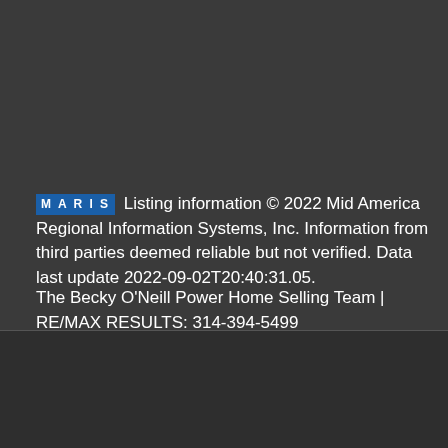MARIS Listing information © 2022 Mid America Regional Information Systems, Inc. Information from third parties deemed reliable but not verified. Data last update 2022-09-02T20:40:31.05.
The Becky O'Neill Power Home Selling Team | RE/MAX RESULTS: 314-394-5499
| BoomTown! © 2022 Terms of Use | Privacy Policy | Accessibility | DMCA | Listings Sitemap